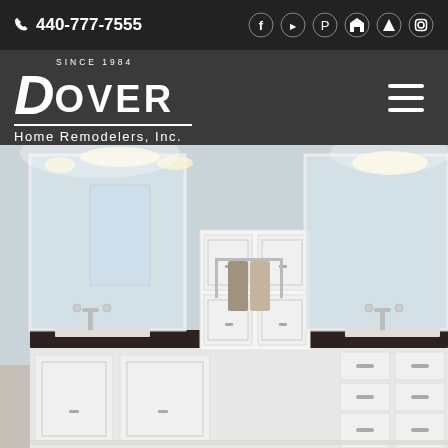📞 440-777-7555 | Social icons: Facebook, YouTube, Pinterest, Houzz, Alignable, Instagram
[Figure (logo): Dover Home Remodelers, Inc. logo — white text on dark gray background, 'SINCE 1984' above 'DOVER' in large bold italic, 'Home Remodelers, Inc.' below underline]
[Figure (photo): Bathroom remodel photo showing a long white shaker-style vanity with dark countertop, two undermount sinks with chrome faucets, large mirrors, hanging towels, and a tall white linen cabinet in the center]